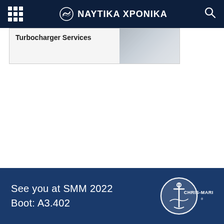NAYTIKA XPONIKA
Turbocharger Services
[Figure (screenshot): Partial image of a turbocharger service component, grey metallic tones]
See you at SMM 2022
Boot: A3.402
[Figure (logo): Chris-Marine logo — circular emblem with anchor and ship motif, white text on dark blue background]